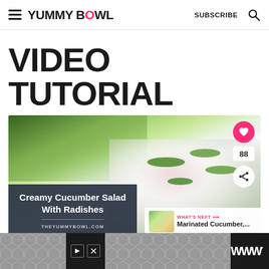YUMMY BOWL — SUBSCRIBE
VIDEO TUTORIAL
[Figure (screenshot): Video thumbnail showing Creamy Cucumber Salad With Radishes recipe. The thumbnail has a food photo background with green vegetables and creamy white dressing, overlaid with a dark navy box containing the title text 'Creamy Cucumber Salad With Radishes' and URL 'THEYUMMYBOWL.COM'. A pink heart button (88 saves) and share button appear on the right. A 'WHAT'S NEXT' panel shows 'Marinated Cucumber,...' preview.]
[Figure (other): Advertisement bar at bottom with hexagon pattern and ad indicators]